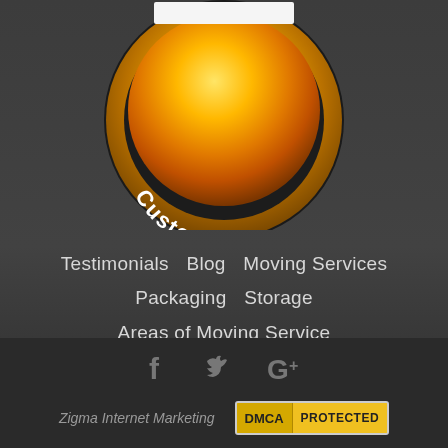[Figure (logo): Gold and black circular medal/badge with 'Customers' text curved along the bottom inner ring. The badge is partially cropped at the top.]
Testimonials   Blog   Moving Services
Packaging   Storage
Areas of Moving Service
Tips from Movers Toronto   Privacy Policy
[Figure (logo): Social media icons: Facebook (f), Twitter (bird), Google+ (G+) in grey]
Zigma Internet Marketing   DMCA PROTECTED